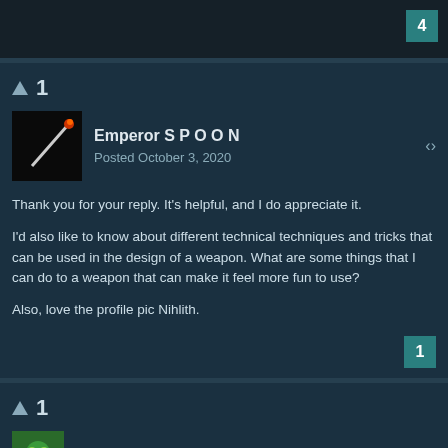4
▲ 1
Emperor S P O O N
Posted October 3, 2020
Thank you for your reply. It's helpful, and I do appreciate it.

I'd also like to know about different technical techniques and tricks that can be used in the design of a weapon. What are some things that I can do to a weapon that can make it feel more fun to use?

Also, love the profile pic Nihlith.
1
▲ 1
Doomkid